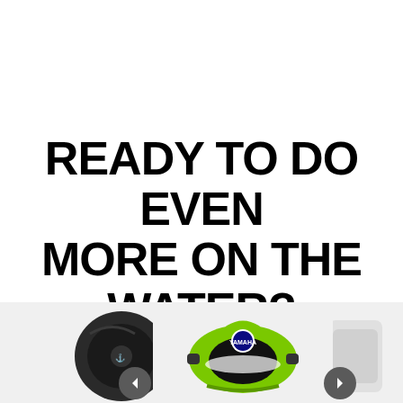READY TO DO EVEN MORE ON THE WATER?
[Figure (photo): Partial view of a dark water sports bag on the left edge]
[Figure (photo): Yamaha branded 3 Rider Deck Tube — green inflatable towable water tube with Yamaha logo]
[Figure (photo): Partial view of another product on the right edge]
25' ster
3 Rider Deck Tube
B